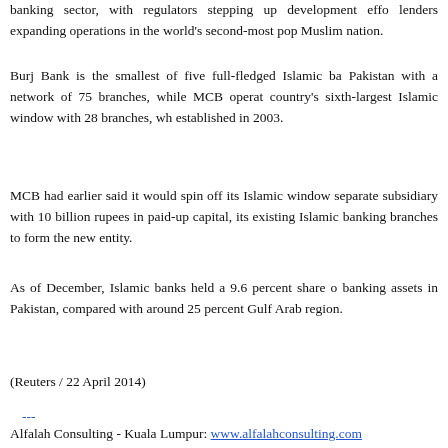banking sector, with regulators stepping up development efforts and lenders expanding operations in the world's second-most populous Muslim nation.
Burj Bank is the smallest of five full-fledged Islamic banks in Pakistan with a network of 75 branches, while MCB operates the country's sixth-largest Islamic window with 28 branches, which was established in 2003.
MCB had earlier said it would spin off its Islamic window into a separate subsidiary with 10 billion rupees in paid-up capital, using its existing Islamic banking branches to form the new entity.
As of December, Islamic banks held a 9.6 percent share of banking assets in Pakistan, compared with around 25 percent in the Gulf Arab region.
(Reuters / 22 April 2014)
---
Alfalah Consulting - Kuala Lumpur: www.alfalahconsulting.com